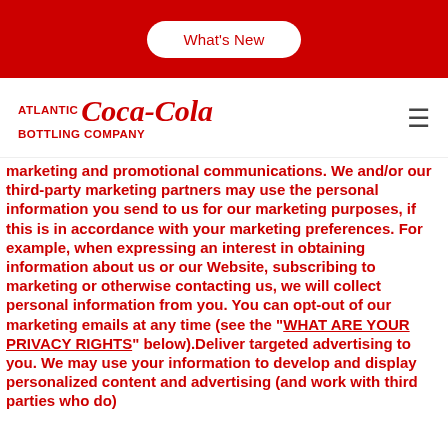What's New
[Figure (logo): Atlantic Coca-Cola Bottling Company logo in red]
marketing and promotional communications. We and/or our third-party marketing partners may use the personal information you send to us for our marketing purposes, if this is in accordance with your marketing preferences. For example, when expressing an interest in obtaining information about us or our Website, subscribing to marketing or otherwise contacting us, we will collect personal information from you. You can opt-out of our marketing emails at any time (see the "WHAT ARE YOUR PRIVACY RIGHTS" below).Deliver targeted advertising to you. We may use your information to develop and display personalized content and advertising (and work with third parties who do)